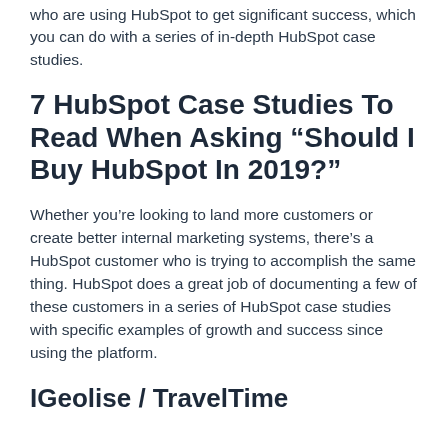who are using HubSpot to get significant success, which you can do with a series of in-depth HubSpot case studies.
7 HubSpot Case Studies To Read When Asking “Should I Buy HubSpot In 2019?”
Whether you’re looking to land more customers or create better internal marketing systems, there’s a HubSpot customer who is trying to accomplish the same thing. HubSpot does a great job of documenting a few of these customers in a series of HubSpot case studies with specific examples of growth and success since using the platform.
IGeolise / TravelTime